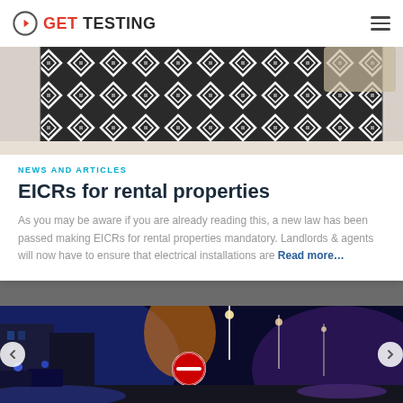GET TESTING
[Figure (photo): Patterned black and white geometric rug on a white floor, with a bag visible in the top right corner]
NEWS AND ARTICLES
EICRs for rental properties
As you may be aware if you are already reading this, a new law has been passed making EICRs for rental properties mandatory. Landlords & agents will now have to ensure that electrical installations are Read more...
[Figure (photo): Night street scene with blue and orange lights, street lamps, buildings, and a no-entry road sign]